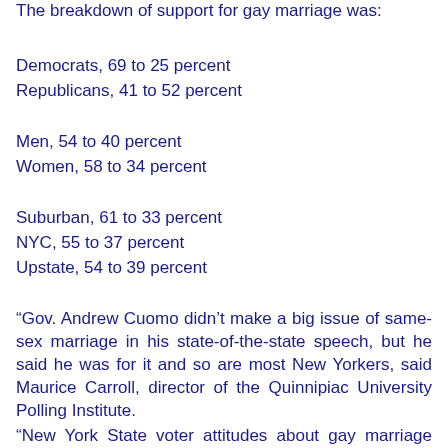The breakdown of support for gay marriage was:
Democrats, 69 to 25 percent
Republicans, 41 to 52 percent
Men, 54 to 40 percent
Women, 58 to 34 percent
Suburban, 61 to 33 percent
NYC, 55 to 37 percent
Upstate, 54 to 39 percent
“Gov. Andrew Cuomo didn’t make a big issue of same-sex marriage in his state-of-the-state speech, but he said he was for it and so are most New Yorkers, said Maurice Carroll, director of the Quinnipiac University Polling Institute.
“New York State voter attitudes about gay marriage have